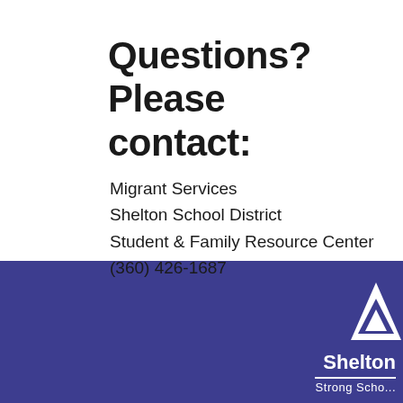Questions? Please contact:
Migrant Services
Shelton School District
Student & Family Resource Center
(360) 426-1687
[Figure (logo): Shelton School District logo — white geometric shape (stylized mountain/triangle) with 'Shelton' text and 'Strong Schools' tagline on dark blue background]